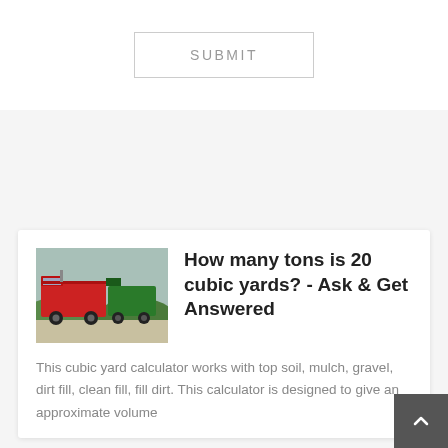SUBMIT
[Figure (photo): Red trucks parked in a lot with green hills in background]
How many tons is 20 cubic yards? - Ask & Get Answered
This cubic yard calculator works with top soil, mulch, gravel, dirt fill, clean fill, fill dirt. This calculator is designed to give an approximate volume